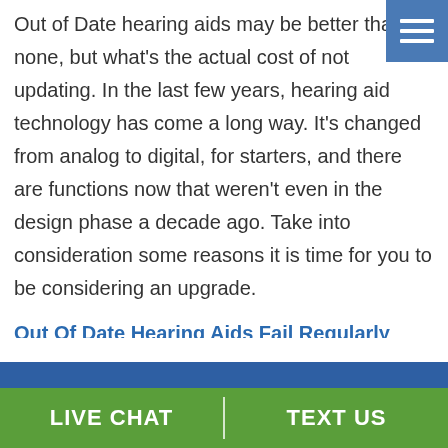Out of Date hearing aids may be better than none, but what's the actual cost of not updating. In the last few years, hearing aid technology has come a long way. It's changed from analog to digital, for starters, and there are functions now that weren't even in the design phase a decade ago. Take into consideration some reasons it is time for you to be considering an upgrade.
Out Of Date Hearing Aids Fail Regularly
outdated or maybe even low-quality hearing aids have many problems including that aggravating buzzing you hear once in awhile. How about that
LIVE CHAT   TEXT US